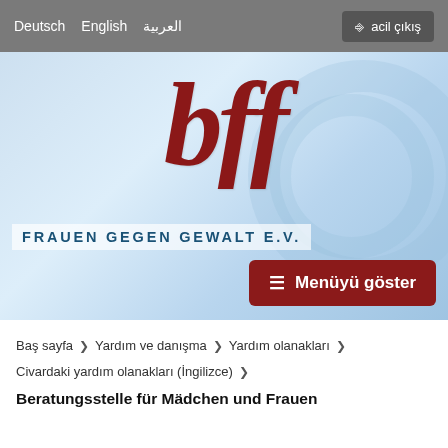Deutsch  English  العربية    acil çıkış
[Figure (logo): bff Frauen gegen Gewalt e.V. logo with large italic bold dark red 'bff' text on a light blue gradient background, with subtitle 'FRAUEN GEGEN GEWALT E.V.' in teal uppercase spaced letters, and a dark red 'Menüyü göster' button]
Baş sayfa  >  Yardım ve danışma  >  Yardım olanakları  >  Civardaki yardım olanakları (İngilizce)  >
Beratungsstelle für Mädchen und Frauen